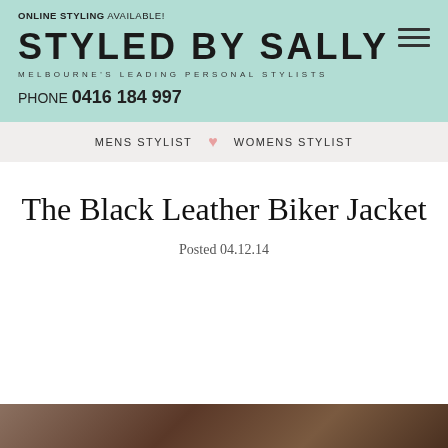ONLINE STYLING AVAILABLE!
STYLED BY SALLY
MELBOURNE'S LEADING PERSONAL STYLISTS
PHONE 0416 184 997
MENS STYLIST ♥ WOMENS STYLIST
The Black Leather Biker Jacket
Posted 04.12.14
[Figure (photo): Partial photo strip showing a person, cropped at bottom of page]